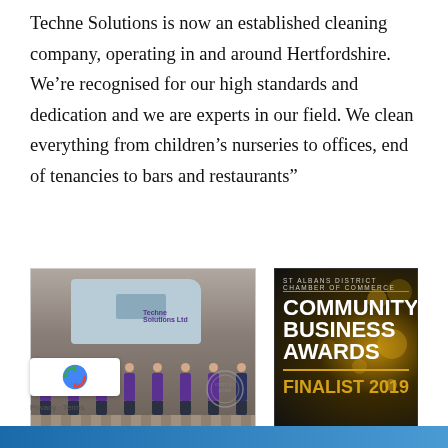Techne Solutions is now an established cleaning company, operating in and around Hertfordshire. We're recognised for our high standards and dedication and we are experts in our field. We clean everything from children's nurseries to offices, end of tenancies to bars and restaurants”
[Figure (photo): Team photo of Techne Solutions staff in purple uniforms standing in front of a company van in a brick-paved area, with a certification seal watermark]
[Figure (photo): St Albans District Chamber of Commerce Community Business Awards Finalist 2019 banner on dark background with gold bokeh]